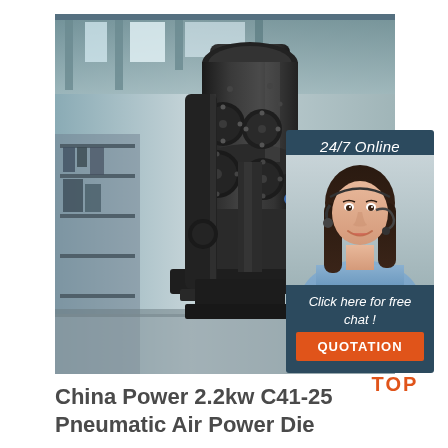[Figure (photo): Large black pneumatic power die forging machine in an industrial warehouse setting with shelving racks visible in the background. The machine has a tall cylindrical top section with multiple circular bolt-on plates and a heavy C-frame body.]
[Figure (photo): Customer service agent - a smiling woman with dark hair wearing a headset/microphone and a light blue shirt, shown in a dark blue panel with '24/7 Online' label and 'Click here for free chat!' text and a QUOTATION orange button.]
[Figure (logo): TOP logo with orange dotted arc above the word TOP in orange bold letters]
China Power 2.2kw C41-25 Pneumatic Air Power Die